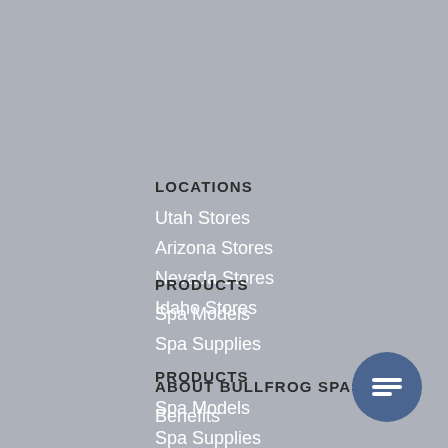LOCATIONS
Utah Stores
Arizona Stores
Nevada Stores
Idaho Stores
PRODUCTS
Spa Models
Spa Supplies
ABOUT BULLFROG SPAS
Benefits
[Figure (illustration): Dark blue circular chat button icon with white speech bubble/lines icon]